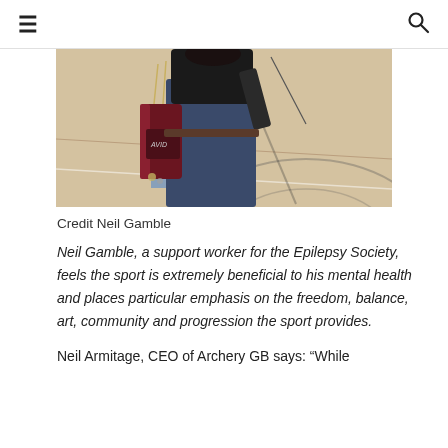≡  🔍
[Figure (photo): An archer standing in an indoor sports hall, holding a bow, with an arrow quiver visible on their hip. The background shows a light wooden gym floor with court markings.]
Credit Neil Gamble
Neil Gamble, a support worker for the Epilepsy Society, feels the sport is extremely beneficial to his mental health and places particular emphasis on the freedom, balance, art, community and progression the sport provides.
Neil Armitage, CEO of Archery GB says: "While